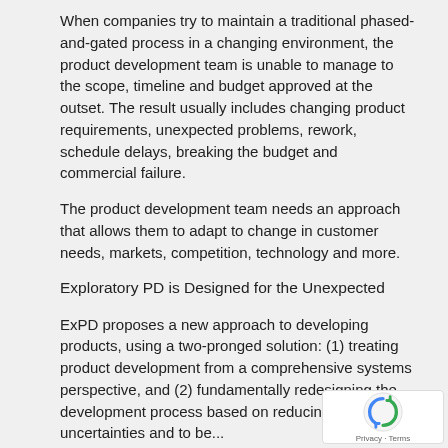When companies try to maintain a traditional phased-and-gated process in a changing environment, the product development team is unable to manage to the scope, timeline and budget approved at the outset. The result usually includes changing product requirements, unexpected problems, rework, schedule delays, breaking the budget and commercial failure.
The product development team needs an approach that allows them to adapt to change in customer needs, markets, competition, technology and more.
Exploratory PD is Designed for the Unexpected
ExPD proposes a new approach to developing products, using a two-pronged solution: (1) treating product development from a comprehensive systems perspective, and (2) fundamentally redesigning the development process based on reducing project uncertainties and to be...